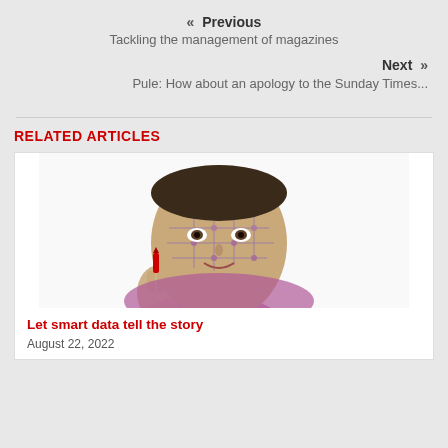« Previous
Tackling the management of magazines
Next »
Pule: How about an apology to the Sunday Times...
RELATED ARTICLES
[Figure (illustration): AI woman face with circuit board pattern overlay, holding a red item in hand]
Let smart data tell the story
August 22, 2022